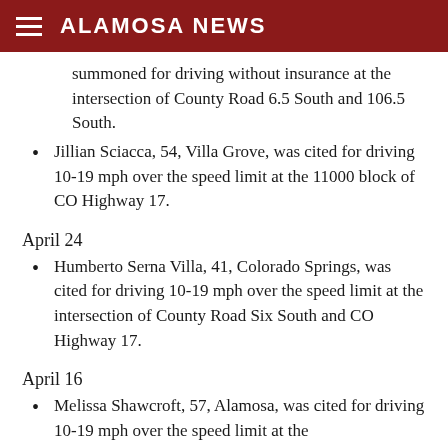ALAMOSA NEWS
summoned for driving without insurance at the intersection of County Road 6.5 South and 106.5 South.
Jillian Sciacca, 54, Villa Grove, was cited for driving 10-19 mph over the speed limit at the 11000 block of CO Highway 17.
April 24
Humberto Serna Villa, 41, Colorado Springs, was cited for driving 10-19 mph over the speed limit at the intersection of County Road Six South and CO Highway 17.
April 16
Melissa Shawcroft, 57, Alamosa, was cited for driving 10-19 mph over the speed limit at the